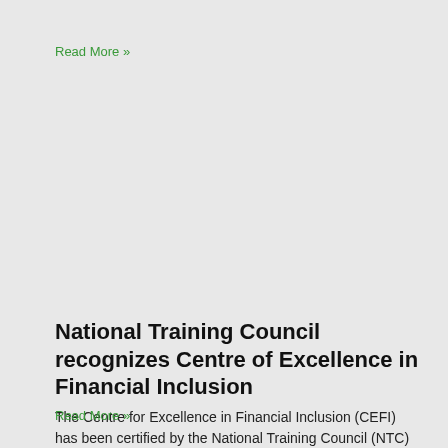Read More »
National Training Council recognizes Centre of Excellence in Financial Inclusion
The Centre for Excellence in Financial Inclusion (CEFI) has been certified by the National Training Council (NTC) to conduct Courses in Financial Literacy. At an
Read More »